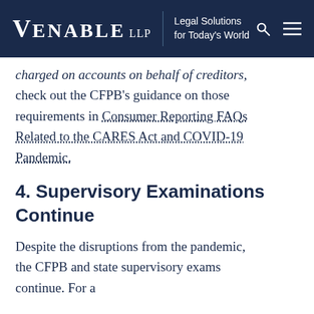Venable LLP | Legal Solutions for Today's World
charged on accounts on behalf of creditors, check out the CFPB's guidance on those requirements in Consumer Reporting FAQs Related to the CARES Act and COVID-19 Pandemic.
4. Supervisory Examinations Continue
Despite the disruptions from the pandemic, the CFPB and state supervisory exams continue. For a here s a selection